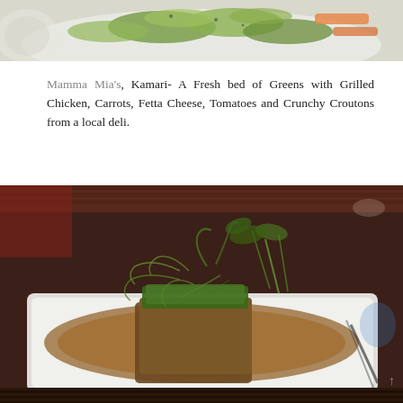[Figure (photo): Top portion of a food photo showing a salad with greens, carrots, and other vegetables on a white plate, partially cropped at the top of the page.]
Mamma Mia's, Kamari- A Fresh bed of Greens with Grilled Chicken, Carrots, Fetta Cheese, Tomatoes and Crunchy Croutons from a local deli.
[Figure (photo): A restaurant dish showing a piece of fish or meat with herb crust on a white rectangular plate, served in a brown sauce and garnished with wild greens/herbs. Photo taken in dim restaurant lighting.]